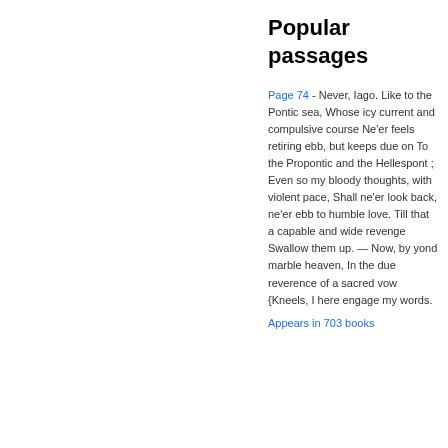Popular passages
Page 74 - Never, Iago. Like to the Pontic sea, Whose icy current and compulsive course Ne'er feels retiring ebb, but keeps due on To the Propontic and the Hellespont ; Even so my bloody thoughts, with violent pace, Shall ne'er look back, ne'er ebb to humble love. Till that a capable and wide revenge Swallow them up. — Now, by yond marble heaven, In the due reverence of a sacred vow {Kneels, I here engage my words.
Appears in 703 books